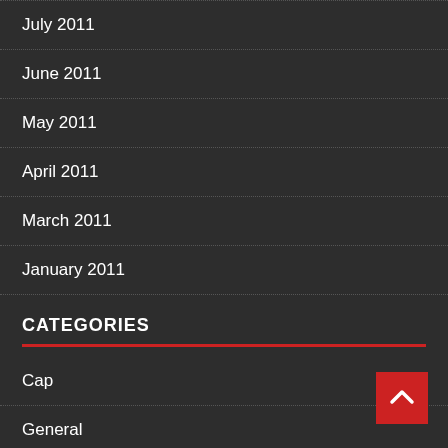July 2011
June 2011
May 2011
April 2011
March 2011
January 2011
CATEGORIES
Cap
General
General Article
Installing
Low Cost
Privacy
Repairing